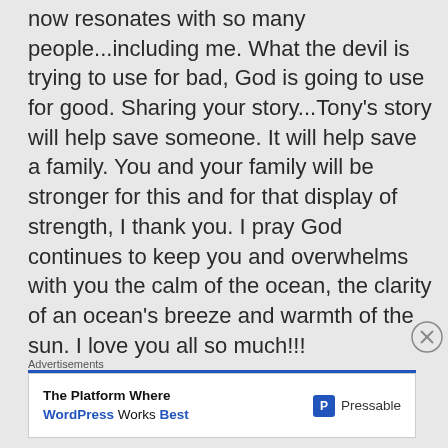now resonates with so many people...including me. What the devil is trying to use for bad, God is going to use for good. Sharing your story...Tony's story will help save someone. It will help save a family. You and your family will be stronger for this and for that display of strength, I thank you. I pray God continues to keep you and overwhelms with you the calm of the ocean, the clarity of an ocean's breeze and warmth of the sun. I love you all so much!!!
Advertisements
[Figure (other): Advertisement banner for Pressable: 'The Platform Where WordPress Works Best' with Pressable logo]